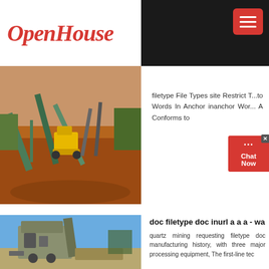OpenHouse
[Figure (screenshot): Hamburger menu button (three horizontal lines) on dark background]
[Figure (photo): Open-pit mining site with conveyor belts and yellow excavator machinery]
filetype File Types site Restrict T... Words In Anchor inanchor Wor... A Conforms to
[Figure (screenshot): Chat Now widget button with X close icon and chat bubble dots]
[Figure (photo): Mining processing equipment - large crusher or screening machine against blue sky]
doc filetype doc inurl a a a - wa
quartz mining requesting filetype doc manufacturing history, with three major processing equipment, The first-line tec